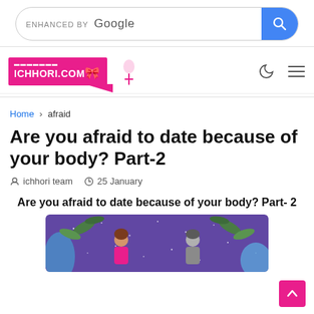[Figure (screenshot): Google search bar with 'ENHANCED BY Google' text and blue search button]
[Figure (logo): ICHHORI.COM logo in pink with illustrated figure, moon and hamburger menu icons on right]
Home > afraid
Are you afraid to date because of your body? Part-2
ichhori team   25 January
Are you afraid to date because of your body? Part- 2
[Figure (illustration): Illustrated image showing two people facing each other with purple starry background and tropical leaves]